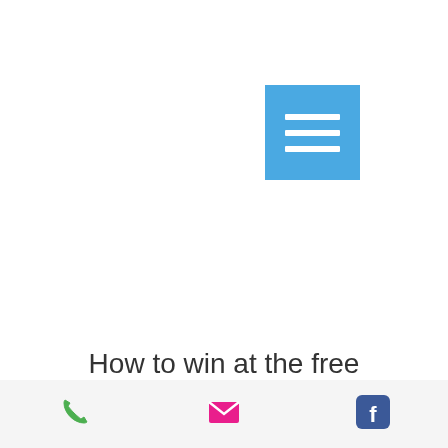[Figure (screenshot): Blue square hamburger/menu button icon with three white horizontal lines]
How to win at the free
[Figure (infographic): Bottom toolbar with phone (green), email (pink/red), and Facebook (blue) icons]